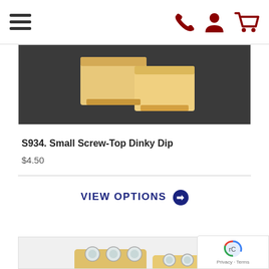[Figure (screenshot): Website navigation header with hamburger menu icon on the left and dark red phone, user, and shopping cart icons on the right]
[Figure (photo): Two small wooden screw-top dinky dip blocks on a dark background, product S934]
S934. Small Screw-Top Dinky Dip
$4.50
VIEW OPTIONS ➜
[Figure (photo): Two wooden blocks with clear screw-top dip containers inserted, shown on white background]